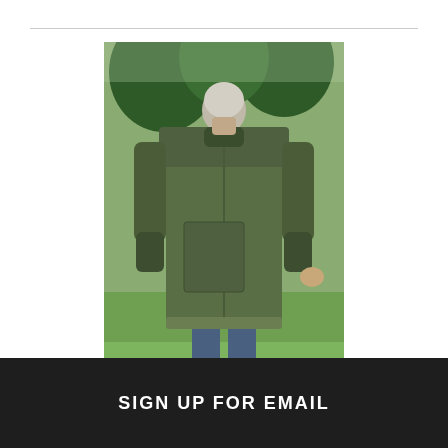[Figure (photo): Person seen from behind wearing a long olive/green carry cape or coat, standing outdoors on grass with trees in background.]
Carry Cape
NZ $95.00
SIGN UP FOR EMAIL